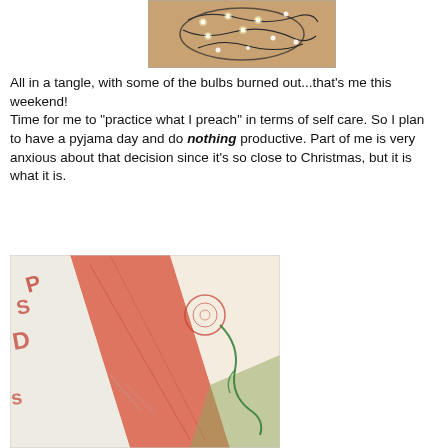[Figure (photo): Tangled Christmas lights glowing on a wooden floor, seen from above]
All in a tangle, with some of the bulbs burned out...that's me this weekend! Time for me to "practice what I preach" in terms of self care. So I plan to have a pyjama day and do nothing productive. Part of me is very anxious about that decision since it's so close to Christmas, but it is what it is.
[Figure (photo): Close-up of a textile/quilt piece with red and white fabric, thread and stitching, with letters and circular designs embroidered or drawn in red, and green thread loose on the fabric]